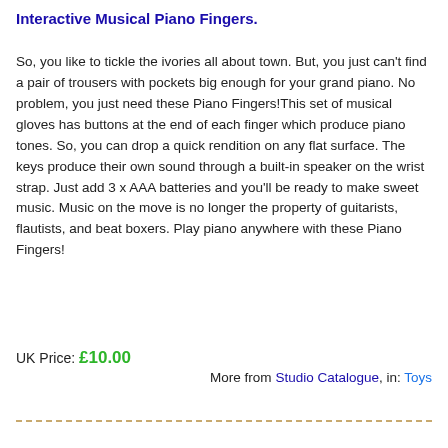Interactive Musical Piano Fingers.
So, you like to tickle the ivories all about town. But, you just can't find a pair of trousers with pockets big enough for your grand piano. No problem, you just need these Piano Fingers!This set of musical gloves has buttons at the end of each finger which produce piano tones. So, you can drop a quick rendition on any flat surface. The keys produce their own sound through a built-in speaker on the wrist strap. Just add 3 x AAA batteries and you'll be ready to make sweet music. Music on the move is no longer the property of guitarists, flautists, and beat boxers. Play piano anywhere with these Piano Fingers!
UK Price: £10.00
More from Studio Catalogue, in: Toys